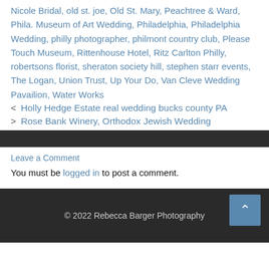Nicole Bridal, old st. joe, Old St. Mary, Peachtree & Ward, Phila. Museum of Art Wedding, Philadelphia, Philadelphia Wedding, philly photographer, philmont country club, Please Touch Museum, Rittenhouse Hotel, Ritz Carlton Philly, robertsons florist, sheraton society hill, stephen starr events, The Logan, Union Trust, Up Your Do, Van Cleve Wedding Pavailion, Water Works
< Holly Hedge Estate real wedding bucks county PA
> Rose Bank Winery, Orthodox Jewish Wedding
Leave a Comment
You must be logged in to post a comment.
© 2022 Rebecca Barger Photography